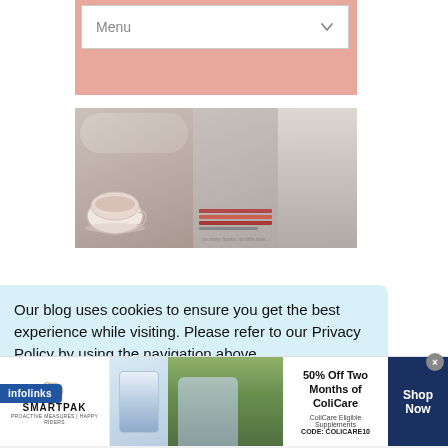[Figure (screenshot): Navigation dropdown menu bar with 'Menu' text and dropdown arrow, on a salmon/pink background]
[Figure (photo): Collage of lifestyle photos: teacup with tea, books stacked, a person in a dress, muted pink/gray tones]
Our blog uses cookies to ensure you get the best experience while visiting. Please refer to our Privacy Policy by using the navigation above
[Figure (logo): infolinks badge/logo in blue]
[Figure (screenshot): SmartPak advertisement: 50% Off Two Months of ColiCare, ColiCare Eligible Supplements, CODE: COLICARE10, Shop Now button]